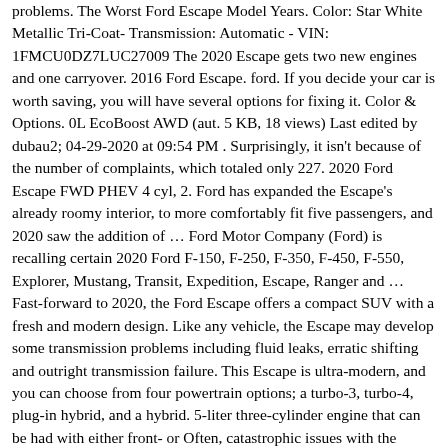problems. The Worst Ford Escape Model Years. Color: Star White Metallic Tri-Coat- Transmission: Automatic - VIN: 1FMCU0DZ7LUC27009 The 2020 Escape gets two new engines and one carryover. 2016 Ford Escape. ford. If you decide your car is worth saving, you will have several options for fixing it. Color & Options. 0L EcoBoost AWD (aut. 5 KB, 18 views) Last edited by dubau2; 04-29-2020 at 09:54 PM . Surprisingly, it isn't because of the number of complaints, which totaled only 227. 2020 Ford Escape FWD PHEV 4 cyl, 2. Ford has expanded the Escape's already roomy interior, to more comfortably fit five passengers, and 2020 saw the addition of … Ford Motor Company (Ford) is recalling certain 2020 Ford F-150, F-250, F-350, F-450, F-550, Explorer, Mustang, Transit, Expedition, Escape, Ranger and … Fast-forward to 2020, the Ford Escape offers a compact SUV with a fresh and modern design. Like any vehicle, the Escape may develop some transmission problems including fluid leaks, erratic shifting and outright transmission failure. This Escape is ultra-modern, and you can choose from four powertrain options; a turbo-3, turbo-4, plug-in hybrid, and a hybrid. 5-liter three-cylinder engine that can be had with either front- or Often, catastrophic issues with the Escape's engine or transmission, particularly the 2014-2019 Ford Escapes, can occur both inside and outside of the vehicle's warranty. Warning message displays when the alarm has been triggered due to unauthorized entry. The Ford Explorer has an improved transmission for 2020. Ford released the original model in 2000 for the 2001 model year. Output 179 Horsepower / 177…